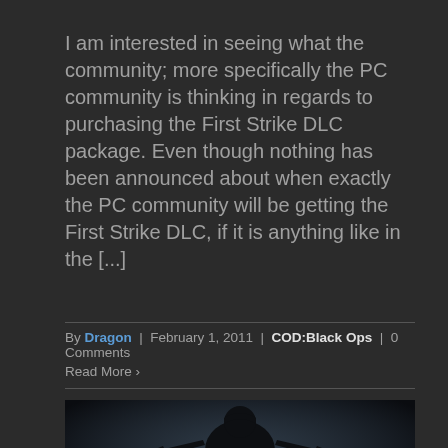I am interested in seeing what the community; more specifically the PC community is thinking in regards to purchasing the First Strike DLC package. Even though nothing has been announced about when exactly the PC community will be getting the First Strike DLC, if it is anything like in the [...]
By Dragon | February 1, 2011 | COD:Black Ops | 0 Comments
Read More >
[Figure (photo): Dark promotional image for 'First Strike' DLC showing silhouetted soldier with weapons, with golden 'FIRST STRIKE' text overlay]